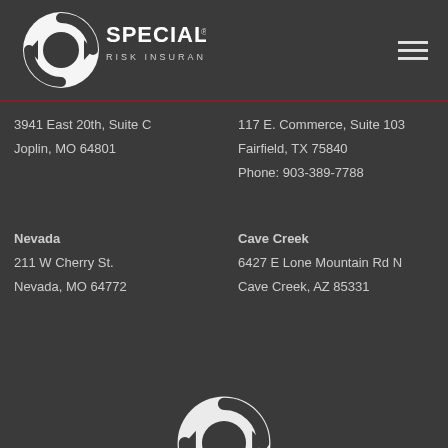[Figure (logo): Specialty Risk Insurance logo - circular arrow logo with text SPECIALTY RISK INSURANCE]
[Figure (other): Hamburger menu icon with three horizontal lines]
3941 East 20th, Suite C
Joplin, MO 64801
117 E. Commerce, Suite 103
Fairfield, TX 75840
Phone: 903-389-7788
Nevada
Cave Creek
211 W Cherry St.
Nevada, MO 64772
6427 E Lone Mountain Rd N
Cave Creek, AZ 85331
[Figure (logo): Partial Specialty Risk Insurance logo visible at bottom]